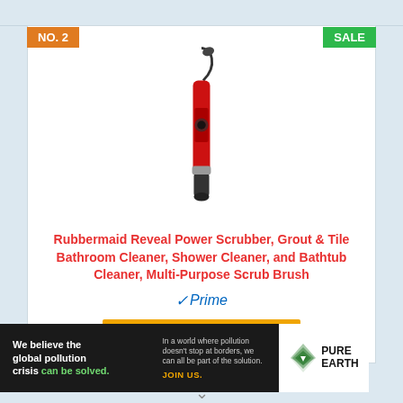NO. 2
SALE
[Figure (photo): Red and black Rubbermaid Reveal Power Scrubber brush, upright, on white background]
Rubbermaid Reveal Power Scrubber, Grout & Tile Bathroom Cleaner, Shower Cleaner, and Bathtub Cleaner, Multi-Purpose Scrub Brush
Prime
Check Price on Amazon
[Figure (infographic): Pure Earth advertisement banner: 'We believe the global pollution crisis can be solved. In a world where pollution doesn't stop at borders, we can all be part of the solution. JOIN US.' with Pure Earth logo.]